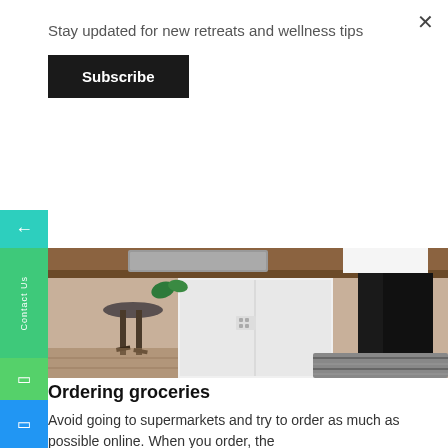Stay updated for new retreats and wellness tips
Subscribe
[Figure (photo): Kitchen scene showing a person in black leggings and brown boots standing next to a white refrigerator with a wooden countertop, bar stools visible in background]
Ordering groceries
Avoid going to supermarkets and try to order as much as possible online. When you order, the